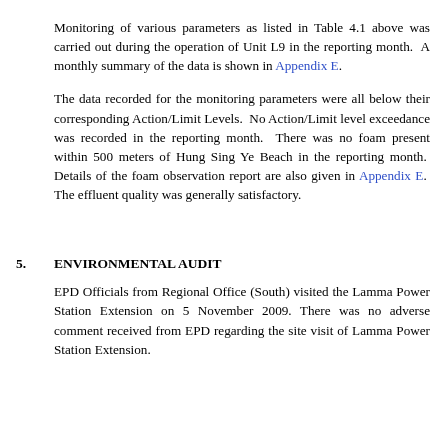Monitoring of various parameters as listed in Table 4.1 above was carried out during the operation of Unit L9 in the reporting month. A monthly summary of the data is shown in Appendix E.
The data recorded for the monitoring parameters were all below their corresponding Action/Limit Levels. No Action/Limit level exceedance was recorded in the reporting month. There was no foam present within 500 meters of Hung Sing Ye Beach in the reporting month. Details of the foam observation report are also given in Appendix E. The effluent quality was generally satisfactory.
5. ENVIRONMENTAL AUDIT
EPD Officials from Regional Office (South) visited the Lamma Power Station Extension on 5 November 2009. There was no adverse comment received from EPD regarding the site visit of Lamma Power Station Extension.